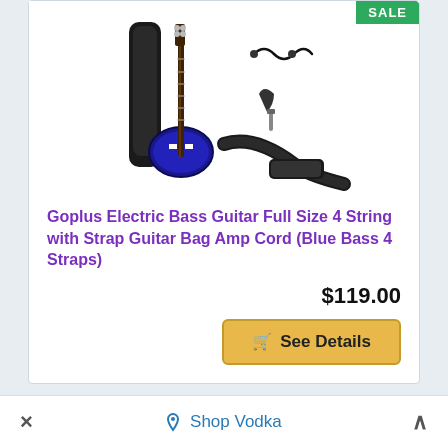[Figure (photo): Product photo of a Goplus Electric Bass Guitar Full Size 4 String (Blue) with accompanying accessories: guitar bag, amp cord, guitar picks, strap, and wrench tool, displayed on white background.]
Goplus Electric Bass Guitar Full Size 4 String with Strap Guitar Bag Amp Cord (Blue Bass 4 Straps)
$119.00
See Details
Shop Vodka